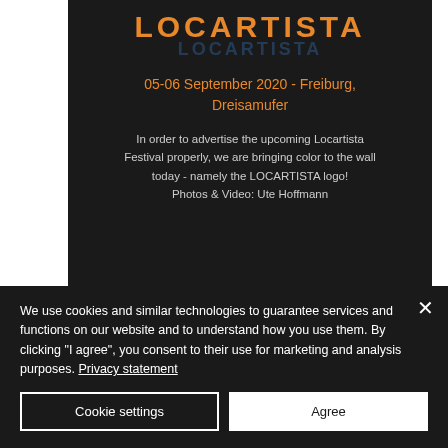LOCARTISTA
05-06 September 2020 - Freiburg, Dreisamufer
In order to advertise the upcoming Locartista Festival properly, we are bringing color to the wall today - namely the LOCARTISTA logo!
Photos & Video: Ute Hoffmann
[Figure (photo): Colorful graffiti/mural art with greens, oranges, and blacks visible]
We use cookies and similar technologies to guarantee services and functions on our website and to understand how you use them. By clicking "I agree", you consent to their use for marketing and analysis purposes. Privacy statement
Cookie settings
Agree